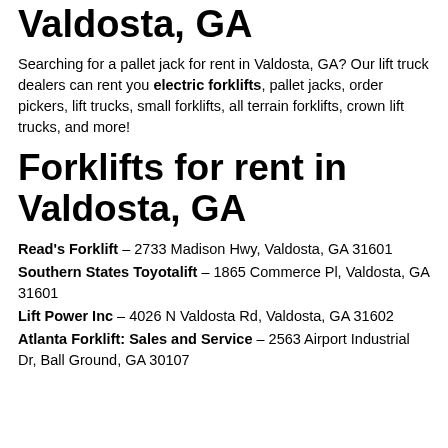Valdosta, GA
Searching for a pallet jack for rent in Valdosta, GA? Our lift truck dealers can rent you electric forklifts, pallet jacks, order pickers, lift trucks, small forklifts, all terrain forklifts, crown lift trucks, and more!
Forklifts for rent in Valdosta, GA
Read's Forklift – 2733 Madison Hwy, Valdosta, GA 31601
Southern States Toyotalift – 1865 Commerce Pl, Valdosta, GA 31601
Lift Power Inc – 4026 N Valdosta Rd, Valdosta, GA 31602
Atlanta Forklift: Sales and Service – 2563 Airport Industrial Dr, Ball Ground, GA 30107